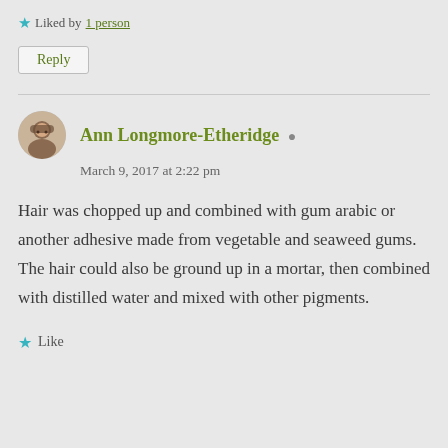★ Liked by 1 person
Reply
Ann Longmore-Etheridge ▲
March 9, 2017 at 2:22 pm
Hair was chopped up and combined with gum arabic or another adhesive made from vegetable and seaweed gums. The hair could also be ground up in a mortar, then combined with distilled water and mixed with other pigments.
★ Like